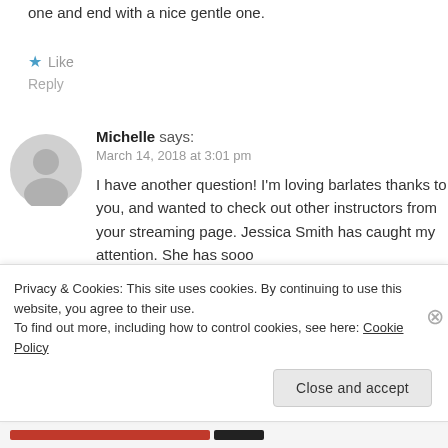one and end with a nice gentle one.
★ Like
Reply
Michelle says:
March 14, 2018 at 3:01 pm
I have another question! I'm loving barlates thanks to you, and wanted to check out other instructors from your streaming page. Jessica Smith has caught my attention. She has sooo
Privacy & Cookies: This site uses cookies. By continuing to use this website, you agree to their use.
To find out more, including how to control cookies, see here: Cookie Policy
Close and accept